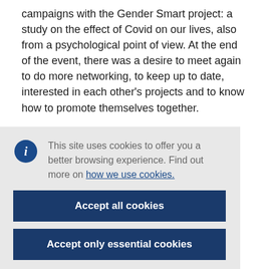campaigns with the Gender Smart project: a study on the effect of Covid on our lives, also from a psychological point of view. At the end of the event, there was a desire to meet again to do more networking, to keep up to date, interested in each other's projects and to know how to promote themselves together.
This site uses cookies to offer you a better browsing experience. Find out more on how we use cookies.
Accept all cookies
Accept only essential cookies